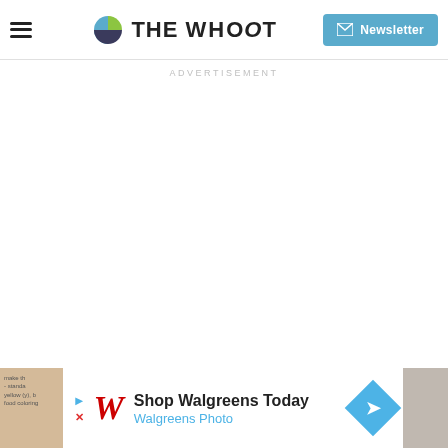THE WHOot — Newsletter
ADVERTISEMENT
[Figure (screenshot): Walgreens advertisement banner at bottom: Shop Walgreens Today, Walgreens Photo]